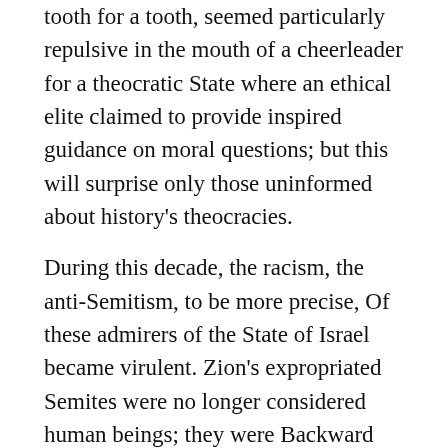tooth for a tooth, seemed particularly repulsive in the mouth of a cheerleader for a theocratic State where an ethical elite claimed to provide inspired guidance on moral questions; but this will surprise only those uninformed about history's theocracies.
During this decade, the racism, the anti-Semitism, to be more precise, Of these admirers of the State of Israel became virulent. Zion's expropriated Semites were no longer considered human beings; they were Backward Arabs; only those among them who had been turned into good assimilated Israelis could be called human; the others were dirty Primitives. And Primitives, in the definition given a few centuries earlier by Conquistadores, not only had no right to resist humiliation, expropriation and desolation; Primitives had no right to exist; they only squandered nature s resources, they didn't know what to do with